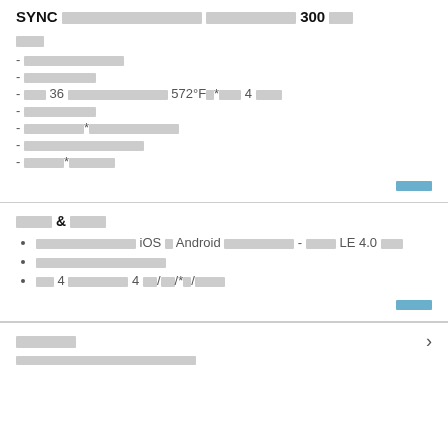SYNC □□□□□□□□□□□□ □□□□□□□□□ 300 □□□
□□□
□□□□□□□□□□□□
□□□□□□□□□
□□ 36 □□□□□□□□□□□□□□□ 572°F□*□□□ 4 □□□
□□□□□□□□□□
□□□□□□□□□□*□□□□□□□□□□□□□□□
□□□□□□□□□□□□□□□□□□□□
□□□□*□□□□□□
□□□□
□□□□ & □□□□
□□□□□□□□□□□□□□□□ iOS □ Android □□□□□□□□□□□□□□ - □□□□ LE 4.0 □□□
□□□□□□□□□□□□□□□□□□□□□□
□□ 4 □□□□□□□□□□□ 4 □□□/□□/*□/□□□□
□□□□
□□□□□□□